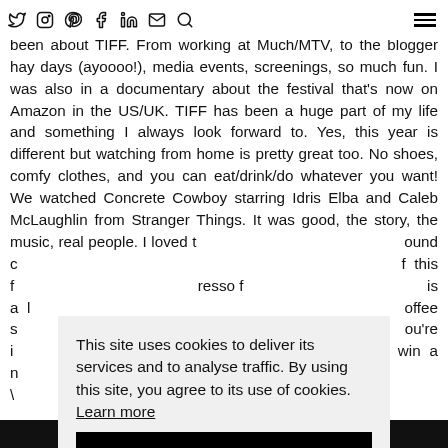Twitter Instagram Pinterest Facebook LinkedIn Email Search | Menu
For the past 10 years of my life, early September has always been about TIFF. From working at Much/MTV, to the blogger hay days (ayoooo!), media events, screenings, so much fun. I was also in a documentary about the festival that's now on Amazon in the US/UK. TIFF has been a huge part of my life and something I always look forward to. Yes, this year is different but watching from home is pretty great too. No shoes, comfy clothes, and you can eat/drink/do whatever you want! We watched Concrete Cowboy starring Idris Elba and Caleb McLaughlin from Stranger Things. It was good, the story, the music, real people. I loved t...ound c...f this f...resso f...is a l...offee s...ou're i...win a n...ma. I \
This site uses cookies to deliver its services and to analyse traffic. By using this site, you agree to its use of cookies. Learn more
OK